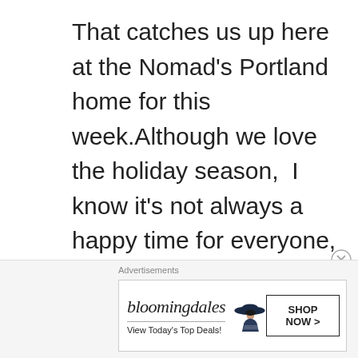That catches us up here at the Nomad's Portland home for this week.Although we love the holiday season,  I know it's not always a happy time for everyone, but I hope the days are going well for you nonetheless, and that you're able to enjoy time with family and friends. Thank you for sticking with us Nomads as we travel around – there'll be more coming up after the
[Figure (other): Bloomingdale's advertisement banner with logo, 'View Today's Top Deals!' text, woman in hat image, and 'SHOP NOW >' button]